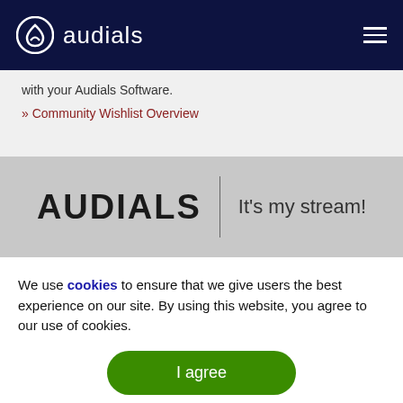audials
with your Audials Software.
» Community Wishlist Overview
[Figure (logo): Audials logo with tagline: AUDIALS | It's my stream!]
We use cookies to ensure that we give users the best experience on our site. By using this website, you agree to our use of cookies.
I agree